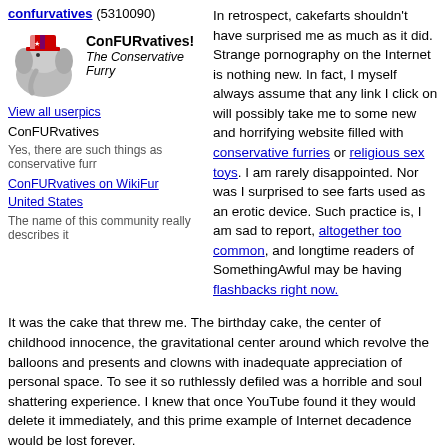confurvatives (5310090)
[Figure (illustration): Cartoon elephant mascot wearing a patriotic hat, sitting in a chair, with ConFURvatives! The Conservative Furry text beside it]
View all userpics
ConFURvatives
Yes, there are such things as conservative furr
ConFURvatives on WikiFur
United States
The name of this community really describes it
In retrospect, cakefarts shouldn't have surprised me as much as it did. Strange pornography on the Internet is nothing new. In fact, I myself always assume that any link I click on will possibly take me to some new and horrifying website filled with conservative furries or religious sex toys. I am rarely disappointed. Nor was I surprised to see farts used as an erotic device. Such practice is, I am sad to report, altogether too common, and longtime readers of SomethingAwful may be having flashbacks right now.
It was the cake that threw me. The birthday cake, the center of childhood innocence, the gravitational center around which revolve the balloons and presents and clowns with inadequate appreciation of personal space. To see it so ruthlessly defiled was a horrible and soul shattering experience. I knew that once YouTube found it they would delete it immediately, and this prime example of Internet decadence would be lost forever.